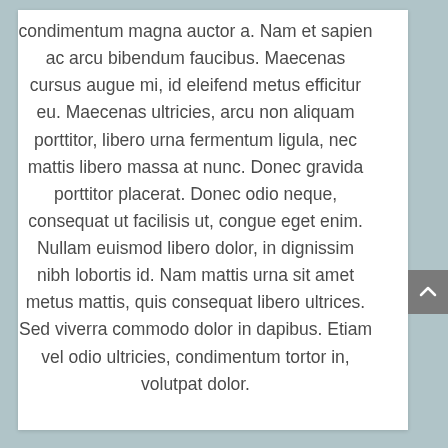condimentum magna auctor a. Nam et sapien ac arcu bibendum faucibus. Maecenas cursus augue mi, id eleifend metus efficitur eu. Maecenas ultricies, arcu non aliquam porttitor, libero urna fermentum ligula, nec mattis libero massa at nunc. Donec gravida porttitor placerat. Donec odio neque, consequat ut facilisis ut, congue eget enim. Nullam euismod libero dolor, in dignissim nibh lobortis id. Nam mattis urna sit amet metus mattis, quis consequat libero ultrices. Sed viverra commodo dolor in dapibus. Etiam vel odio ultricies, condimentum tortor in, volutpat dolor.